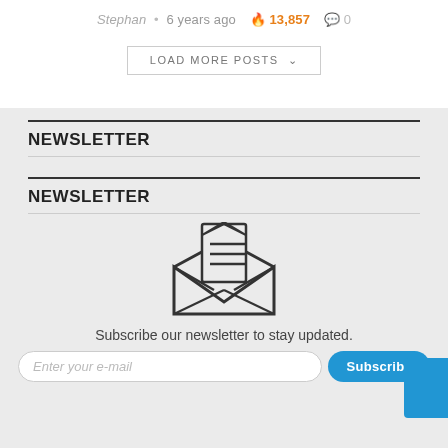Stephan • 6 years ago 🔥 13,857 💬 0
LOAD MORE POSTS ∨
NEWSLETTER
NEWSLETTER
[Figure (illustration): Open envelope icon with a letter/document inside showing horizontal lines, outline style illustration]
Subscribe our newsletter to stay updated.
Enter your e-mail ... Subscribe